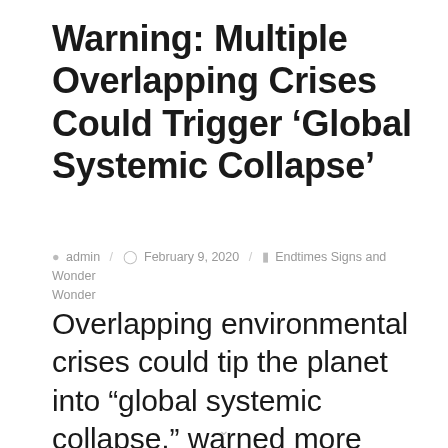Warning: Multiple Overlapping Crises Could Trigger ‘Global Systemic Collapse’
admin / February 9, 2020 / Endtimes Signs and Wonder
Overlapping environmental crises could tip the planet into “global systemic collapse,” warned more than 200 top scientists.